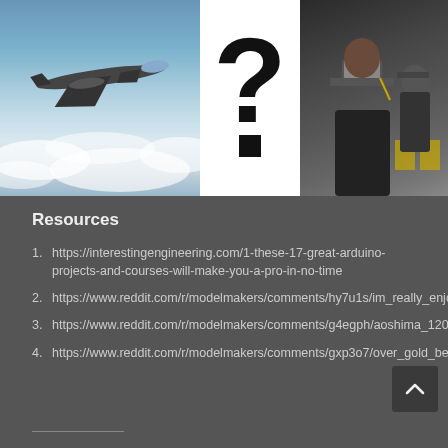[Figure (photo): Composite image: left panel shows a military jet aircraft flying over clouds (blue sky background), center panel shows a large black question mark on white background, right panel shows graduation ceremony attendees wearing caps and gowns with CU logo on cap]
Resources
https://interestingengineering.com/1-these-17-great-arduino-projects-and-courses-will-make-you-a-pro-in-no-time
https://www.reddit.com/r/modelmakers/comments/hy7u1s/im_really_enjoying_the_look_of_these_led/
https://www.reddit.com/r/modelmakers/comments/g4egph/aoshima_12000_hms_hood_disaster_diorama_with/
https://www.reddit.com/r/modelmakers/comments/gxp3o7/over_gold_beach/